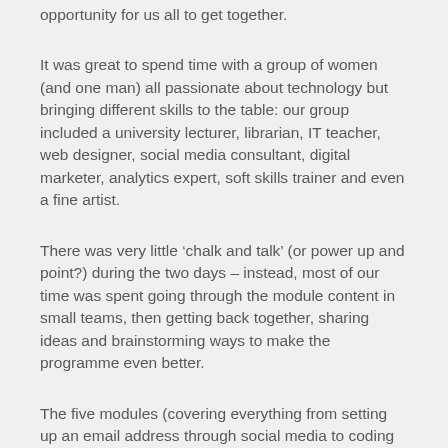opportunity for us all to get together.
It was great to spend time with a group of women (and one man) all passionate about technology but bringing different skills to the table: our group included a university lecturer, librarian, IT teacher, web designer, social media consultant, digital marketer, analytics expert, soft skills trainer and even a fine artist.
There was very little ‘chalk and talk’ (or power up and point?) during the two days – instead, most of our time was spent going through the module content in small teams, then getting back together, sharing ideas and brainstorming ways to make the programme even better.
The five modules (covering everything from setting up an email address through social media to coding your own phone app) are essentially practical and designed to build confidence. Sue wants mums to feel empowered – to finish the